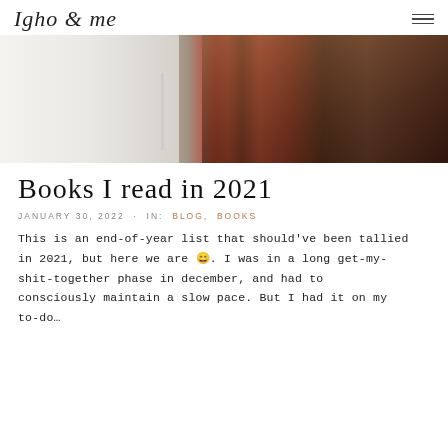Igho & me
[Figure (photo): A person reaching for books on a white bookshelf, with colorful book spines visible including red and orange books.]
Books I read in 2021
JANUARY 30, 2022 · IN: BLOG, BOOKS
This is an end-of-year list that should've been tallied in 2021, but here we are 😄. I was in a long get-my-shit-together phase in december, and had to consciously maintain a slow pace. But I had it on my to-do…